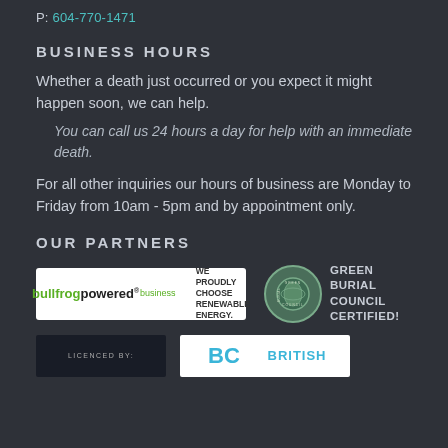P: 604-770-1471
BUSINESS HOURS
Whether a death just occurred or you expect it might happen soon, we can help.
You can call us 24 hours a day for help with an immediate death.
For all other inquiries our hours of business are Monday to Friday from 10am - 5pm and by appointment only.
OUR PARTNERS
[Figure (logo): Bullfrog Powered business logo with text WE PROUDLY CHOOSE RENEWABLE ENERGY.]
[Figure (logo): Green Burial Council circular logo with text GREEN BURIAL COUNCIL CERTIFIED!]
[Figure (logo): Licenced by logo on dark background]
[Figure (logo): British Columbia logo with BC initials in teal, text BRITISH]